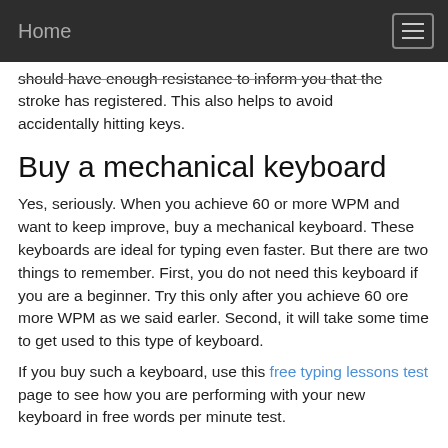Home
should have enough resistance to inform you that the stroke has registered. This also helps to avoid accidentally hitting keys.
Buy a mechanical keyboard
Yes, seriously. When you achieve 60 or more WPM and want to keep improve, buy a mechanical keyboard. These keyboards are ideal for typing even faster. But there are two things to remember. First, you do not need this keyboard if you are a beginner. Try this only after you achieve 60 ore more WPM as we said earler. Second, it will take some time to get used to this type of keyboard.
If you buy such a keyboard, use this free typing lessons test page to see how you are performing with your new keyboard in free words per minute test.